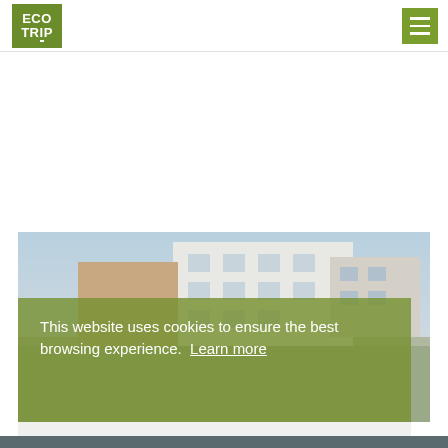[Figure (logo): ECO TRIP logo — green square with white text]
[Figure (other): Hamburger menu button (three horizontal white lines on green square background)]
[Figure (photo): Street-level photo showing European multi-story residential/commercial buildings, a delivery vehicle visible on the right, partial palm-like plant in foreground left]
This website uses cookies to ensure the best browsing experience.  Learn more
Got it
PARCEL TRANSPORTATION